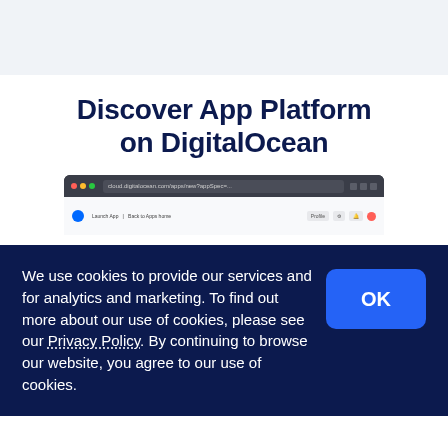Discover App Platform on DigitalOcean
[Figure (screenshot): Browser screenshot showing DigitalOcean App Platform webpage with dark browser chrome and address bar]
We use cookies to provide our services and for analytics and marketing. To find out more about our use of cookies, please see our Privacy Policy. By continuing to browse our website, you agree to our use of cookies.